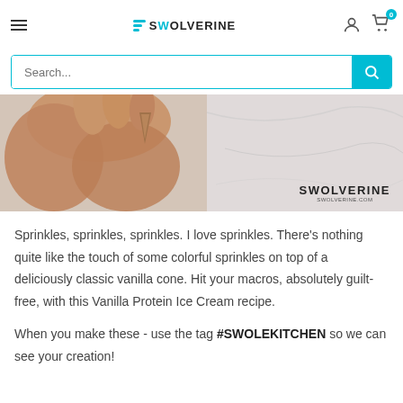SWOLVERINE — Navigation header with hamburger menu, logo, user icon, and cart (0)
[Figure (screenshot): Search bar with cyan/teal search button and magnifying glass icon]
[Figure (photo): Hand holding a mini waffle cone against a marble background, with SWOLVERINE logo watermark]
Sprinkles, sprinkles, sprinkles. I love sprinkles. There's nothing quite like the touch of some colorful sprinkles on top of a deliciously classic vanilla cone. Hit your macros, absolutely guilt-free, with this Vanilla Protein Ice Cream recipe.
When you make these - use the tag #SWOLEKITCHEN so we can see your creation!